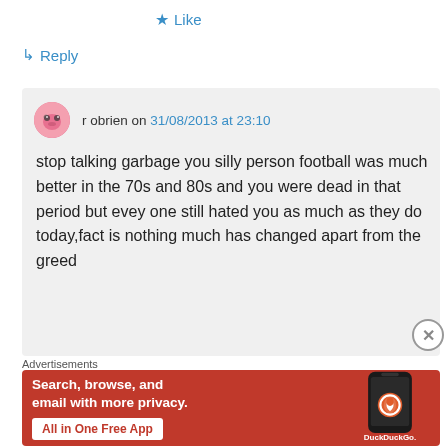★ Like
↳ Reply
r obrien on 31/08/2013 at 23:10
stop talking garbage you silly person football was much better in the 70s and 80s and you were dead in that period but evey one still hated you as much as they do today,fact is nothing much has changed apart from the greed
Advertisements
[Figure (screenshot): DuckDuckGo advertisement banner: 'Search, browse, and email with more privacy. All in One Free App' with phone graphic and DuckDuckGo logo]